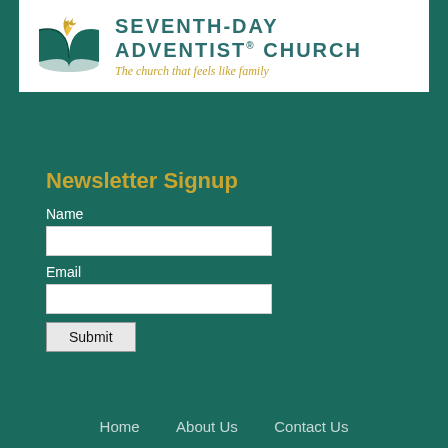[Figure (logo): Seventh-day Adventist Church banner with logo and tagline 'The church that feels like family']
Newsletter Signup
Name
Email
Home   About Us   Contact Us